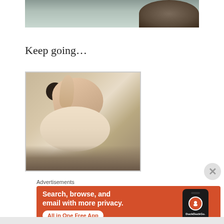[Figure (photo): Close-up photo of top of animal (panda plush) head against teal background, cropped at top]
Keep going…
[Figure (photo): Photo of a hand squeezing a panda stuffed animal, showing the plush face and ears from above, with dark fur at bottom]
Advertisements
[Figure (screenshot): DuckDuckGo advertisement banner with orange background reading 'Search, browse, and email with more privacy. All in One Free App' with phone showing DuckDuckGo logo]